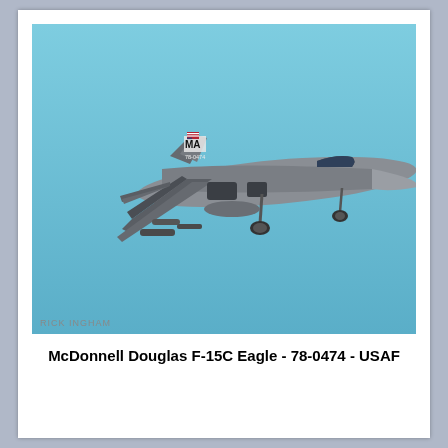[Figure (photo): F-15C Eagle fighter jet with tail code MA and serial 78-0474, photographed in flight against a blue sky with landing gear deployed. Photo credit: RICK INGHAM]
McDonnell Douglas F-15C Eagle - 78-0474 - USAF